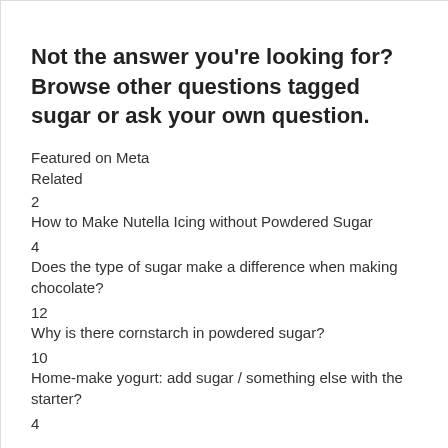Not the answer you're looking for? Browse other questions tagged sugar or ask your own question.
Featured on Meta
Related
2
How to Make Nutella Icing without Powdered Sugar
4
Does the type of sugar make a difference when making chocolate?
12
Why is there cornstarch in powdered sugar?
10
Home-make yogurt: add sugar / something else with the starter?
4